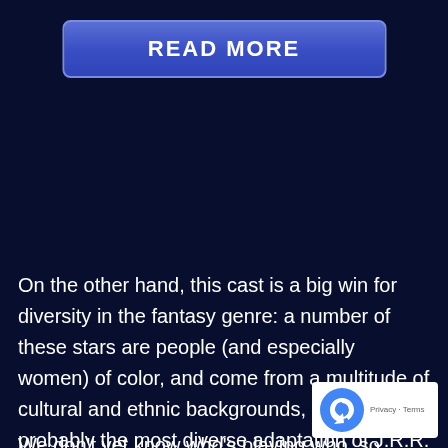[Figure (other): READ MORE button — a blue gradient rectangular button with white bold uppercase text 'READ MORE']
On the other hand, this cast is a big win for diversity in the fantasy genre: a number of these stars are people (and especially women) of color, and come from a multitude of cultural and ethnic backgrounds, making this probably the most diverse adaptation of J.R.R. Tolkien's works yet.
We don't yet know who's playing who, so Amazon has
[Figure (other): Google reCAPTCHA badge with blue recycling-arrow logo and 'Privacy - Terms' text]